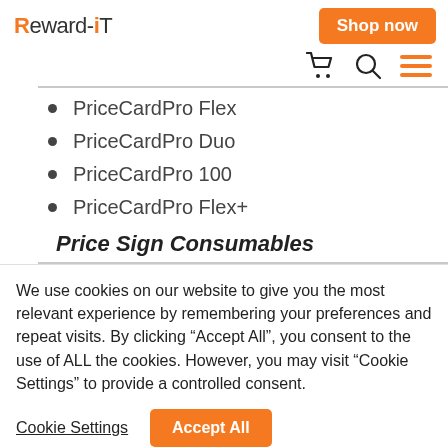Reward-iT | Shop now
PriceCardPro Flex
PriceCardPro Duo
PriceCardPro 100
PriceCardPro Flex+
Price Sign Consumables
We use cookies on our website to give you the most relevant experience by remembering your preferences and repeat visits. By clicking “Accept All”, you consent to the use of ALL the cookies. However, you may visit “Cookie Settings” to provide a controlled consent.
Cookie Settings | Accept All